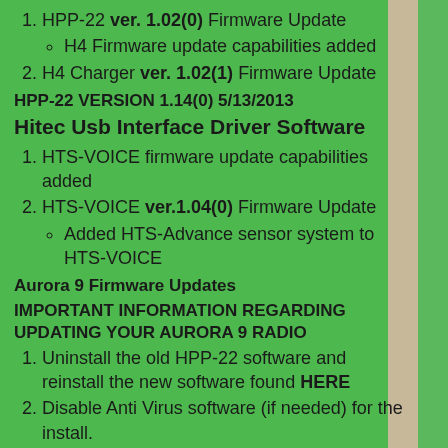HPP-22 ver. 1.02(0) Firmware Update
H4 Firmware update capabilities added
H4 Charger ver. 1.02(1) Firmware Update
HPP-22 VERSION 1.14(0) 5/13/2013
Hitec Usb Interface Driver Software
HTS-VOICE firmware update capabilities added
HTS-VOICE ver.1.04(0) Firmware Update
Added HTS-Advance sensor system to HTS-VOICE
Aurora 9 Firmware Updates
IMPORTANT INFORMATION REGARDING UPDATING YOUR AURORA 9 RADIO
Uninstall the old HPP-22 software and reinstall the new software found HERE
Disable Anti Virus software (if needed) for the install.
Run as Administrator or turn off or down user